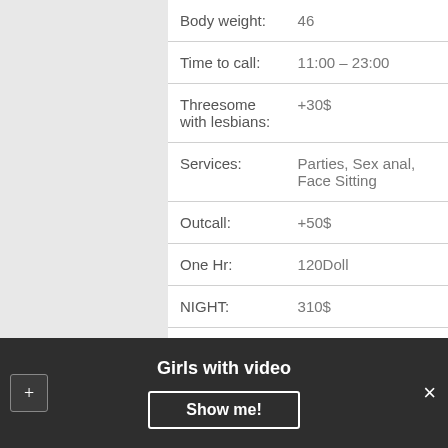| Body weight: | 46 |
| Time to call: | 11:00 – 23:00 |
| Threesome with lesbians: | +30$ |
| Services: | Parties, Sex anal, Face Sitting |
| Outcall: | +50$ |
| One Hr: | 120Doll |
| NIGHT: | 310$ |
| Origin: | Asian |
Send a massage
Girls with video
Show me!